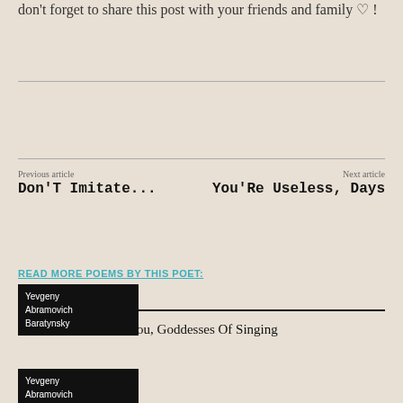don't forget to share this post with your friends and family ♡ !
Previous article
Don'T Imitate...
Next article
You'Re Useless, Days
READ MORE POEMS BY THIS POET:
Yevgeny Abramovich Baratynsky
I Love You, Goddesses Of Singing
Yevgeny Abramovich Baratynsky